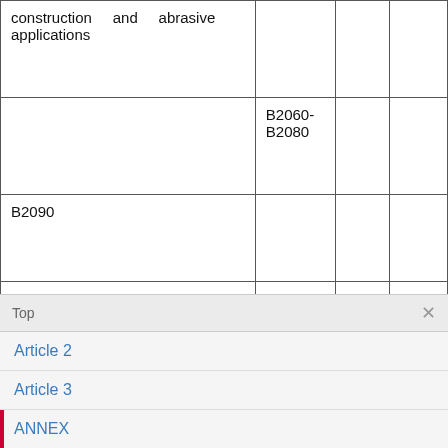|  |  |  |  |
| --- | --- | --- | --- |
| construction and abrasive applications |  |  |  |
|  | B2060-B2080 |  |  |
| B2090 |  |  |  |
|  | B2100-B2110 |  |  |
| B2120 |  |  |  |
|  | B2130 |  |  |
Top
Article 2
Article 3
ANNEX